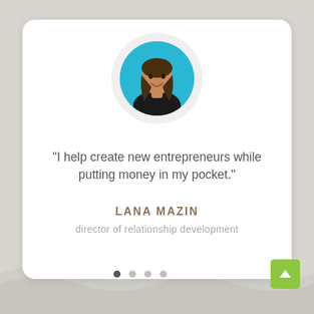[Figure (photo): Circular profile photo of Lana Mazin against a blue background, woman with long brown hair smiling, wearing dark clothing]
"I help create new entrepreneurs while putting money in my pocket."
LANA MAZIN
director of relationship development